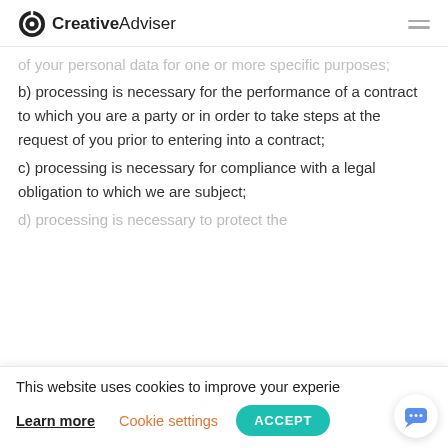CreativeAdviser
of your personal data for one or more specific purposes;
b) processing is necessary for the performance of a contract to which you are a party or in order to take steps at the request of you prior to entering into a contract;
c) processing is necessary for compliance with a legal obligation to which we are subject;
d) processing is necessary to protect the
This website uses cookies to improve your experie
Learn more   Cookie settings   ACCEPT